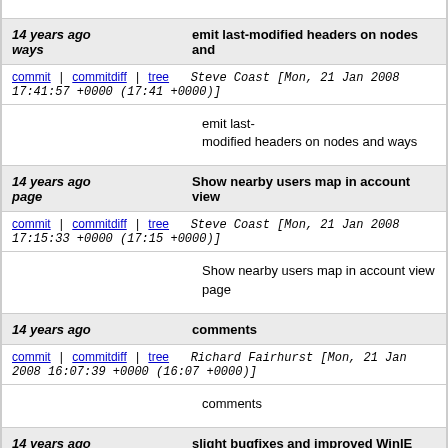14 years ago   emit last-modified headers on nodes and ways
commit | commitdiff | tree   Steve Coast [Mon, 21 Jan 2008 17:41:57 +0000 (17:41 +0000)]
emit last-modified headers on nodes and ways
14 years ago   Show nearby users map in account view page
commit | commitdiff | tree   Steve Coast [Mon, 21 Jan 2008 17:15:33 +0000 (17:15 +0000)]
Show nearby users map in account view page
14 years ago   comments
commit | commitdiff | tree   Richard Fairhurst [Mon, 21 Jan 2008 16:07:39 +0000 (16:07 +0000)]
comments
14 years ago   slight bugfixes and improved WinIE behaviour (?)